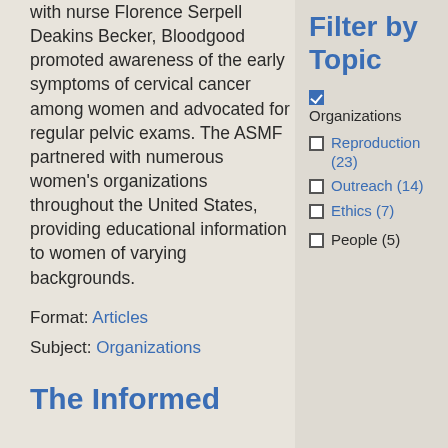with nurse Florence Serpell Deakins Becker, Bloodgood promoted awareness of the early symptoms of cervical cancer among women and advocated for regular pelvic exams. The ASMF partnered with numerous women's organizations throughout the United States, providing educational information to women of varying backgrounds.
Format: Articles
Subject: Organizations
The Informed
Filter by Topic
Organizations (checked)
Reproduction (23)
Outreach (14)
Ethics (7)
People (5)